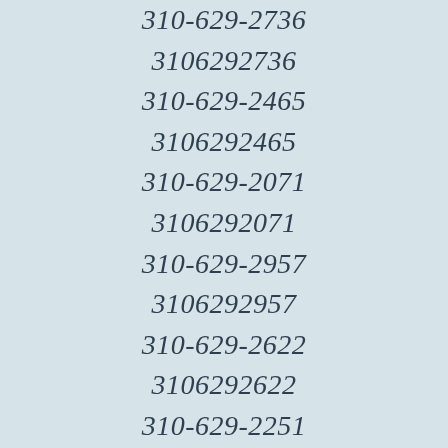310-629-2736
3106292736
310-629-2465
3106292465
310-629-2071
3106292071
310-629-2957
3106292957
310-629-2622
3106292622
310-629-2251
3106292251
310-629-2524
3106292524
310-629-2198
3106292198